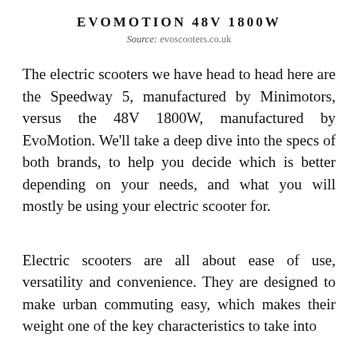EVOMOTION 48V 1800W
Source: evoscooters.co.uk
The electric scooters we have head to head here are the Speedway 5, manufactured by Minimotors, versus the 48V 1800W, manufactured by EvoMotion. We'll take a deep dive into the specs of both brands, to help you decide which is better depending on your needs, and what you will mostly be using your electric scooter for.
Electric scooters are all about ease of use, versatility and convenience. They are designed to make urban commuting easy, which makes their weight one of the key characteristics to take into